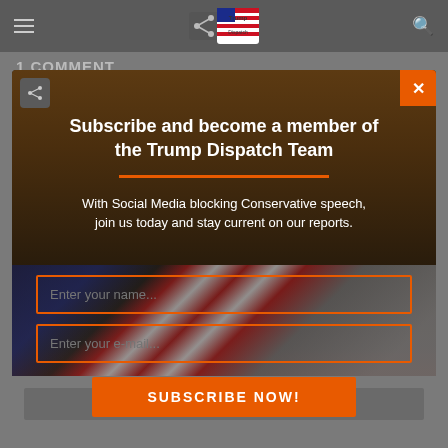Trump Dispatch
1 COMMENT
Subscribe and become a member of the Trump Dispatch Team
With Social Media blocking Conservative speech, join us today and stay current on our reports.
Enter your name...
Enter your e-mail...
SUBSCRIBE NOW!
🔒 Your Information will NEVER be shared with a third party.